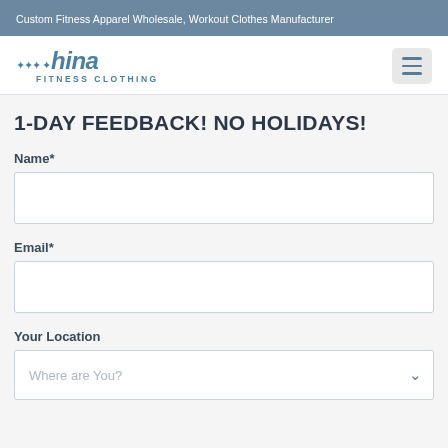Custom Fitness Apparel Wholesale, Workout Clothes Manufacturer
[Figure (logo): China Fitness Clothing logo with stars and italic text]
1-DAY FEEDBACK! NO HOLIDAYS!
Name*
Email*
Your Location